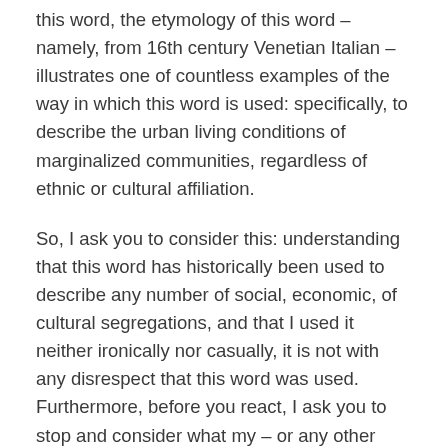this word, the etymology of this word – namely, from 16th century Venetian Italian – illustrates one of countless examples of the way in which this word is used: specifically, to describe the urban living conditions of marginalized communities, regardless of ethnic or cultural affiliation.
So, I ask you to consider this: understanding that this word has historically been used to describe any number of social, economic, of cultural segregations, and that I used it neither ironically nor casually, it is not with any disrespect that this word was used. Furthermore, before you react, I ask you to stop and consider what my – or any other writer's – history may be. You do not know where we come from, where we are now, what our disadvantages or our privileges were, or what we've had to overcome to get here.